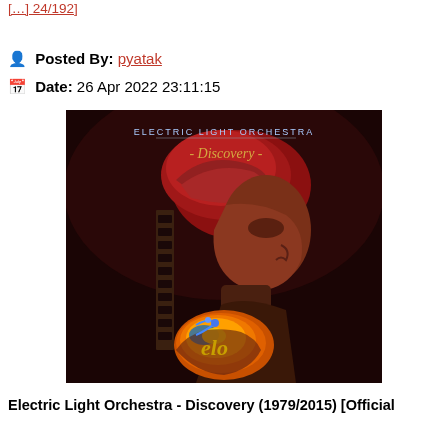[...] 24/192]
Posted By: pyatak
Date: 26 Apr 2022 23:11:15
[Figure (photo): Album cover of Electric Light Orchestra - Discovery. Shows a person with a red turban/cap gazing downward at a glowing spherical object with the ELO logo. Dark background with ornate border.]
Electric Light Orchestra - Discovery (1979/2015) [Official